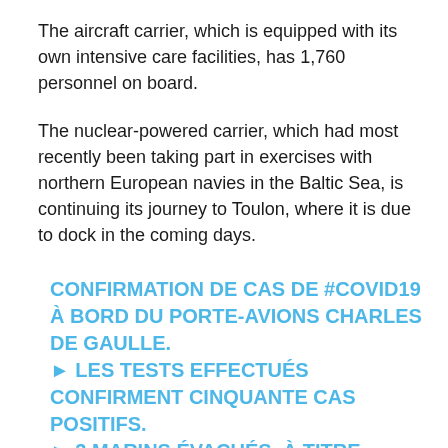The aircraft carrier, which is equipped with its own intensive care facilities, has 1,760 personnel on board.
The nuclear-powered carrier, which had most recently been taking part in exercises with northern European navies in the Baltic Sea, is continuing its journey to Toulon, where it is due to dock in the coming days.
CONFIRMATION DE CAS DE #COVID19 À BORD DU PORTE-AVIONS CHARLES DE GAULLE.
► LES TESTS EFFECTUÉS CONFIRMENT CINQUANTE CAS POSITIFS.
► 3 MARINS ÉVACUÉS, À TITRE PRÉVENTIF, PAR AVION, ET